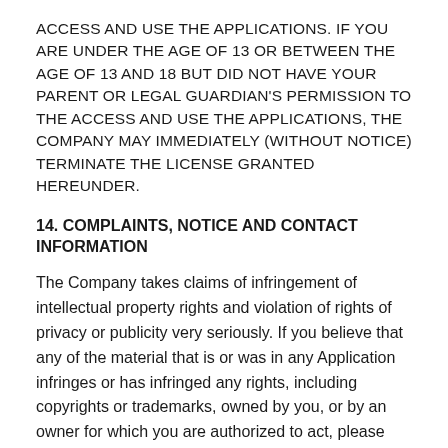ACCESS AND USE THE APPLICATIONS. IF YOU ARE UNDER THE AGE OF 13 OR BETWEEN THE AGE OF 13 AND 18 BUT DID NOT HAVE YOUR PARENT OR LEGAL GUARDIAN'S PERMISSION TO THE ACCESS AND USE THE APPLICATIONS, THE COMPANY MAY IMMEDIATELY (WITHOUT NOTICE) TERMINATE THE LICENSE GRANTED HEREUNDER.
14. COMPLAINTS, NOTICE AND CONTACT INFORMATION
The Company takes claims of infringement of intellectual property rights and violation of rights of privacy or publicity very seriously. If you believe that any of the material that is or was in any Application infringes or has infringed any rights, including copyrights or trademarks, owned by you, or by an owner for which you are authorized to act, please contact us at GungHo Support.
15. PRIVACY POLICY
The Company is committed to respecting your privacy